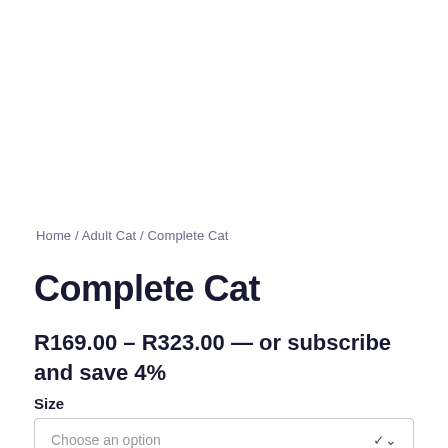Home / Adult Cat / Complete Cat
Complete Cat
R169.00 – R323.00 — or subscribe and save 4%
Size
Choose an option